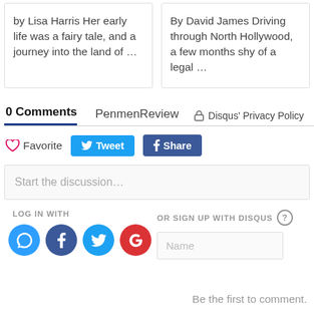by Lisa Harris Her early life was a fairy tale, and a journey into the land of …
By David James Driving through North Hollywood, a few months shy of a legal …
0 Comments  PenmenReview  🔒 Disqus' Privacy Policy
♡ Favorite  🐦 Tweet  f Share
Start the discussion…
LOG IN WITH
OR SIGN UP WITH DISQUS  ?
Name
Be the first to comment.